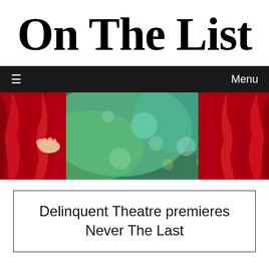On The List
≡  Menu
[Figure (photo): A hand pulling open a red theatre curtain to reveal a blurred green bokeh background, with red curtains also visible on the right side.]
Delinquent Theatre premieres Never The Last